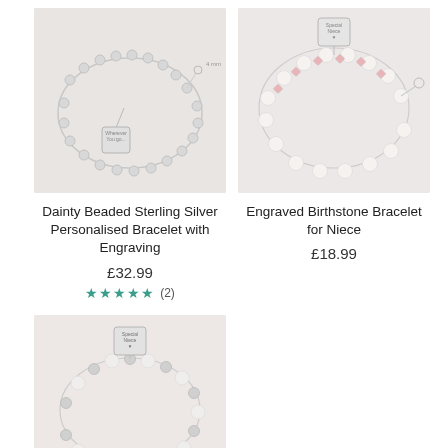[Figure (photo): Silver beaded bracelet with heart charm engraved 'Wherever You Go...' on light background]
Dainty Beaded Sterling Silver Personalised Bracelet with Engraving
£32.99
★★★★★ (2)
[Figure (photo): Pearl and crystal bracelet with engraved heart charm 'Special Niece' on light pink background]
Engraved Birthstone Bracelet for Niece
£18.99
[Figure (photo): Silver pearl bracelet with heart charm 'Special Niece' on light pink background - bottom product]